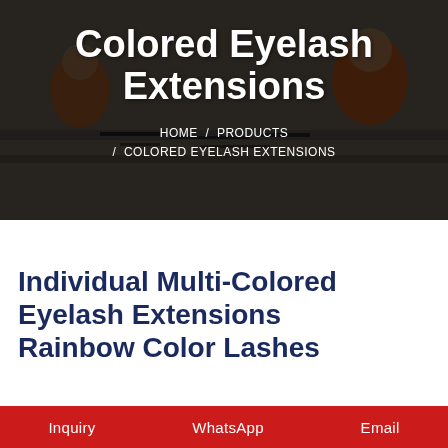[Figure (photo): Workers at tables assembling eyelash extensions products in a workshop/factory setting. People wearing orange jackets working at long tables with black eyelash strips.]
Colored Eyelash Extensions
HOME / PRODUCTS / COLORED EYELASH EXTENSIONS
Individual Multi-Colored Eyelash Extensions Rainbow Color Lashes
Inquiry   WhatsApp   Email